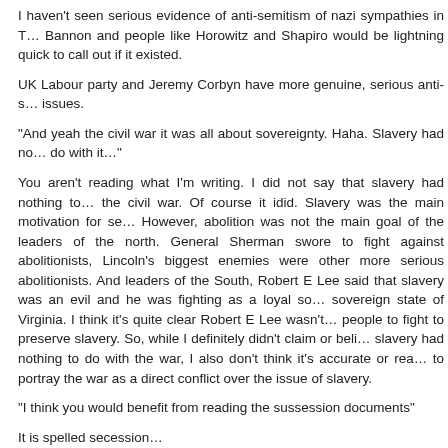I haven't seen serious evidence of anti-semitism of nazi sympathies in T… Bannon and people like Horowitz and Shapiro would be lightning quick to call out if it existed.
UK Labour party and Jeremy Corbyn have more genuine, serious anti-s… issues.
“And yeah the civil war it was all about sovereignty. Haha. Slavery had no… do with it…”
You aren't reading what I'm writing. I did not say that slavery had nothing to… the civil war. Of course it idid. Slavery was the main motivation for se… However, abolition was not the main goal of the leaders of the north. General Sherman swore to fight against abolitionists, Lincoln’s biggest enemies were other more serious abolitionists. And leaders of the South, Robert E Lee said that slavery was an evil and he was fighting as a loyal so… sovereign state of Virginia. I think it’s quite clear Robert E Lee wasn’t… people to fight to preserve slavery. So, while I definitely didn’t claim or beli… slavery had nothing to do with the war, I also don’t think it’s accurate or rea… to portray the war as a direct conflict over the issue of slavery.
“I think you would benefit from reading the sussession documents”
It is spelled secession…
“Was the destruction of innocent Germans homes and farms… Germans f… no part in nazi conquest and the genocide of the Jews justified?”
Good point. In WWII, allies definitely deliberate attacked German civilians, in the fire bombing of Dresden. That is morally similar to bombing civilia…